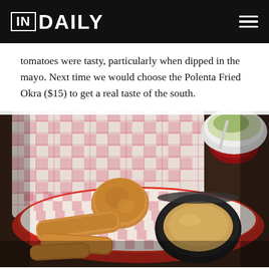IN DAILY
tomatoes were tasty, particularly when dipped in the mayo. Next time we would choose the Polenta Fried Okra ($15) to get a real taste of the south.
[Figure (photo): A red oval basket lined with red and white gingham paper containing fried food items (fried green tomatoes and similar fried pieces), with a small black bowl of dipping sauce (mayo/aioli) on the right side of the basket. In the background, a red ramekin and a white bowl with salad are visible on a dark wooden table.]